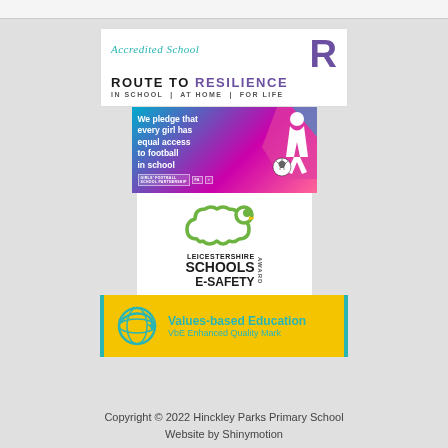[Figure (logo): Accredited School Route to Resilience logo - white background with teal italic text 'Accredited School', large purple R, bold text 'ROUTE TO RESILIENCE', subtext 'IN SCHOOL | AT HOME | FOR LIFE']
[Figure (logo): Girls Football Pledge logo - colourful background with white text 'We pledge that every girl has equal access to football in school', with silhouette of girl footballer and football]
[Figure (logo): Leicestershire Schools e-Safety Award logo - white background with green cloud graphic and bold text 'LEICESTERSHIRE SCHOOLS e-SAFETY' with 'AWARD' vertical]
[Figure (logo): Values-based Education VbE Enhanced Quality Mark - yellow background with teal globe icon, teal text 'Values-based Education' and 'VbE Enhanced Quality Mark']
Copyright © 2022 Hinckley Parks Primary School
Website by Shinymotion